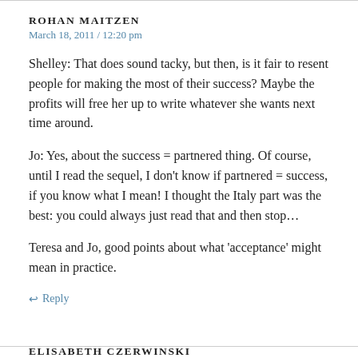ROHAN MAITZEN
March 18, 2011 / 12:20 pm
Shelley: That does sound tacky, but then, is it fair to resent people for making the most of their success? Maybe the profits will free her up to write whatever she wants next time around.
Jo: Yes, about the success = partnered thing. Of course, until I read the sequel, I don't know if partnered = success, if you know what I mean! I thought the Italy part was the best: you could always just read that and then stop…
Teresa and Jo, good points about what 'acceptance' might mean in practice.
↩ Reply
ELISABETH CZERWINSKI